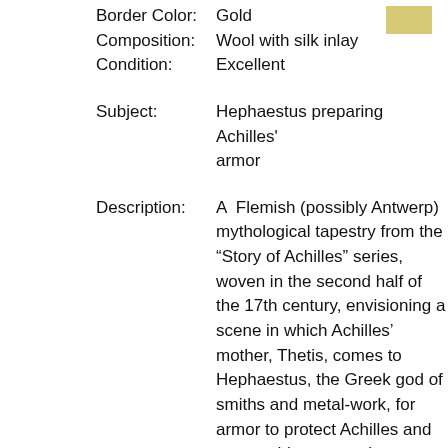Border Color: Gold
Composition: Wool with silk inlay
Condition: Excellent
Subject: Hephaestus preparing Achilles' armor
Description: A Flemish (possibly Antwerp) mythological tapestry from the “Story of Achilles” series, woven in the second half of the 17th century, envisioning a scene in which Achilles’ mother, Thetis, comes to Hephaestus, the Greek god of smiths and metal-work, for armor to protect Achilles and prevent his one weakness from being exposed in the Trojan